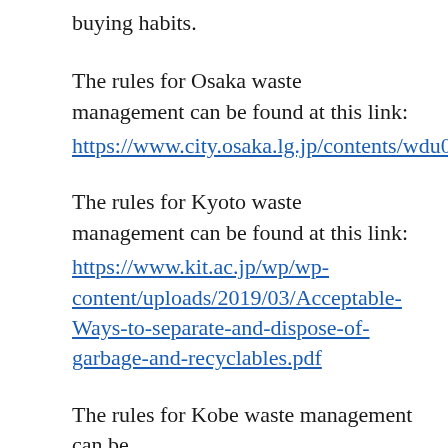buying habits.
The rules for Osaka waste management can be found at this link: https://www.city.osaka.lg.jp/contents/wdu020/enjoy/en/content_f.html
The rules for Kyoto waste management can be found at this link:
https://www.kit.ac.jp/wp/wp-content/uploads/2019/03/Acceptable-Ways-to-separate-and-dispose-of-garbage-and-recyclables.pdf
The rules for Kobe waste management can be